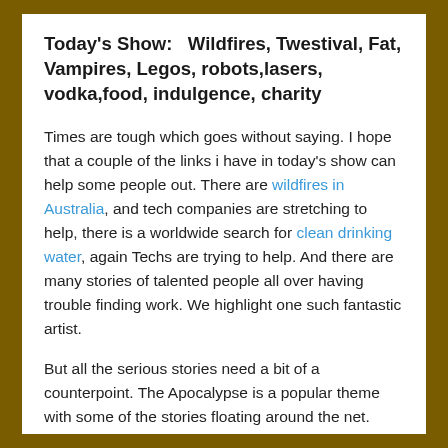Today's Show:   Wildfires, Twestival, Fat, Vampires, Legos, robots,lasers, vodka,food, indulgence, charity
Times are tough which goes without saying. I hope that a couple of the links i have in today's show can help some people out. There are wildfires in Australia, and tech companies are stretching to help, there is a worldwide search for clean drinking water, again Techs are trying to help. And there are many stories of talented people all over having trouble finding work. We highlight one such fantastic artist.
But all the serious stories need a bit of a counterpoint. The Apocalypse is a popular theme with some of the stories floating around the net. How would you like to go? Robots, Zombies, Vampires maybe? We have you covered either way.   That coupled with some of tastiest and nastiest food ...